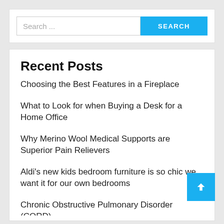[Figure (screenshot): Search bar with text input placeholder 'Search ...' and blue 'SEARCH' button]
Recent Posts
Choosing the Best Features in a Fireplace
What to Look for when Buying a Desk for a Home Office
Why Merino Wool Medical Supports are Superior Pain Relievers
Aldi's new kids bedroom furniture is so chic we want it for our own bedrooms
Chronic Obstructive Pulmonary Disorder (CORD)